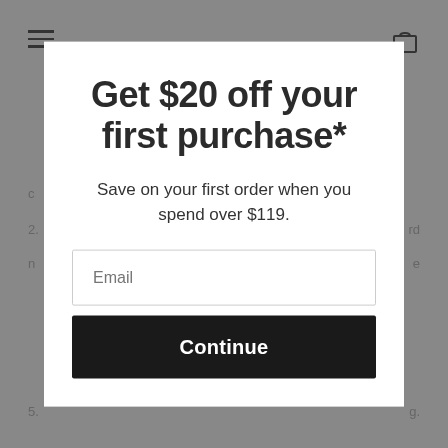[Figure (screenshot): Website page with modal popup dialog for email signup discount offer]
Get $20 off your first purchase*
Save on your first order when you spend over $119.
Email
Continue